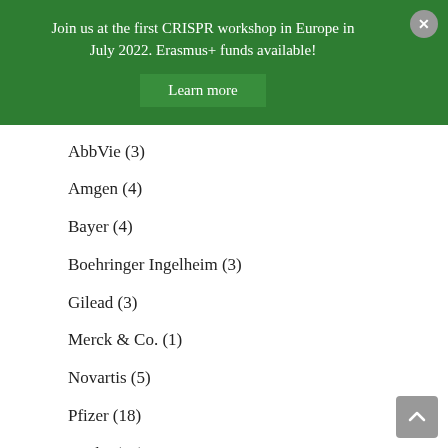Join us at the first CRISPR workshop in Europe in July 2022. Erasmus+ funds available!
Learn more
AbbVie (3)
Amgen (4)
Bayer (4)
Boehringer Ingelheim (3)
Gilead (3)
Merck & Co. (1)
Novartis (5)
Pfizer (18)
Roche (22)